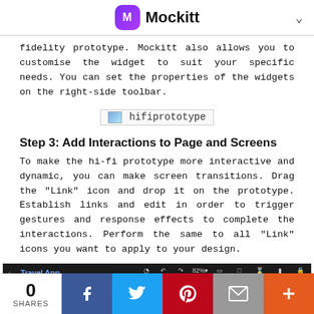Mockitt
fidelity prototype. Mockitt also allows you to customise the widget to suit your specific needs. You can set the properties of the widgets on the right-side toolbar.
[Figure (screenshot): Placeholder image labeled 'hifiprototype']
Step 3: Add Interactions to Page and Screens
To make the hi-fi prototype more interactive and dynamic, you can make screen transitions. Drag the "Link" icon and drop it on the prototype. Establish links and edit in order to trigger gestures and response effects to complete the interactions. Perform the same to all "Link" icons you want to apply to your design.
[Figure (screenshot): Screenshot of Mockitt editor interface showing Travel App with toolbar, ruler, canvas area, and Link to Prev label.]
[Figure (infographic): Share bar at bottom: 0 SHARES, Facebook, Twitter, Pinterest, Email, Plus buttons]